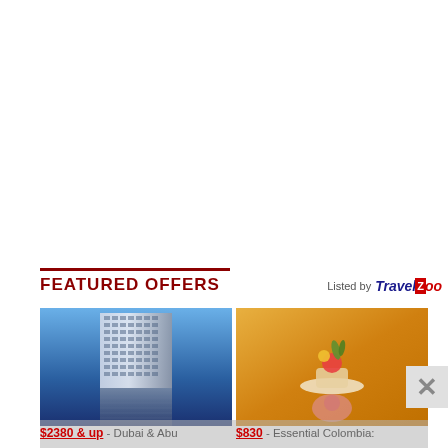FEATURED OFFERS
Listed by TRAVELZOO
[Figure (photo): Two travel offer images side by side: left shows a modern skyscraper (Dubai architecture), right shows a colorful cocktail drink with tropical garnish]
$2380 & up  - Dubai & Abu
$830  - Essential Colombia: